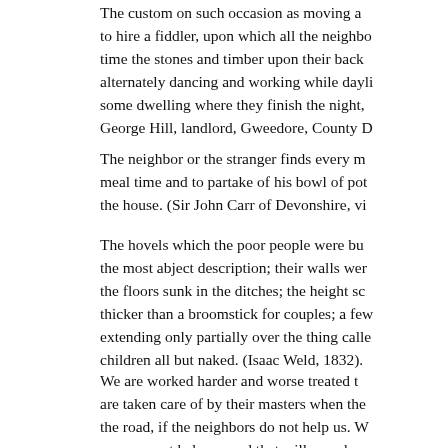The custom on such occasion as moving a to hire a fiddler, upon which all the neighbo time the stones and timber upon their back alternately dancing and working while dayli some dwelling where they finish the night, George Hill, landlord, Gweedore, County D
The neighbor or the stranger finds every m meal time and to partake of his bowl of pot the house. (Sir John Carr of Devonshire, vi
The hovels which the poor people were bu the most abject description; their walls wer the floors sunk in the ditches; the height sc thicker than a broomstick for couples; a few extending only partially over the thing calle children all but naked. (Isaac Weld, 1832).
We are worked harder and worse treated t are taken care of by their masters when the the road, if the neighbors do not help us. W ones cannot help us, and that will soon hap day, and the landlords are kicking us out o happen to this country! (James McMahon,
Most of these people have not eaten since fasting. These men are small farmers payin the scarcity since last March has begun to